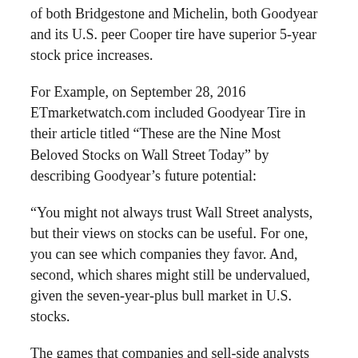of both Bridgestone and Michelin, both Goodyear and its U.S. peer Cooper tire have superior 5-year stock price increases.
For Example, on September 28, 2016 ETmarketwatch.com included Goodyear Tire in their article titled “These are the Nine Most Beloved Stocks on Wall Street Today” by describing Goodyear’s future potential:
“You might not always trust Wall Street analysts, but their views on stocks can be useful. For one, you can see which companies they favor. And, second, which shares might still be undervalued, given the seven-year-plus bull market in U.S. stocks.
The games that companies and sell-side analysts play with quarterly earnings — lowering expectations to set up “earnings beats” — hurt the credibility of analysts. Their reputations also are hurt by their tendency to avoid putting